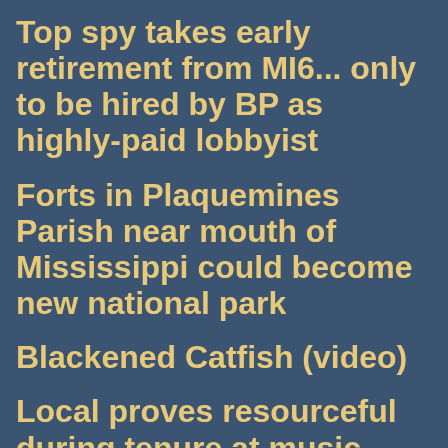Top spy takes early retirement from MI6... only to be hired by BP as highly-paid lobbyist
Forts in Plaquemines Parish near mouth of Mississippi could become new national park
Blackened Catfish (video)
Local proves resourceful during tenure at music